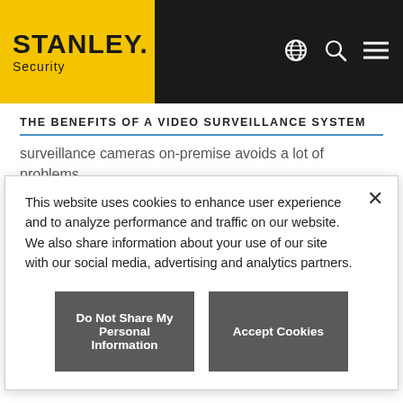[Figure (logo): Stanley Security logo on yellow background with dark navigation bar and icons]
THE BENEFITS OF A VIDEO SURVEILLANCE SYSTEM
surveillance cameras on-premise avoids a lot of problems.
To avoid legal challenges when you're monitoring employees, some of the SHRM's
This website uses cookies to enhance user experience and to analyze performance and traffic on our website. We also share information about your use of our site with our social media, advertising and analytics partners.
Do Not Share My Personal Information
Accept Cookies